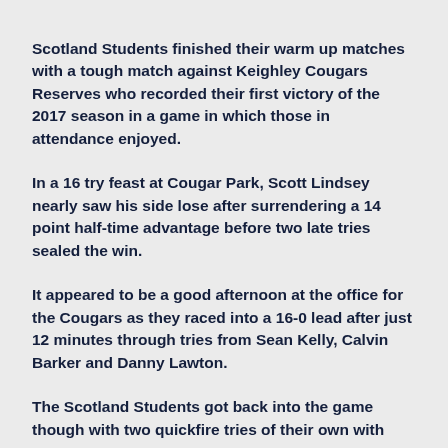Scotland Students finished their warm up matches with a tough match against Keighley Cougars Reserves who recorded their first victory of the 2017 season in a game in which those in attendance enjoyed.
In a 16 try feast at Cougar Park, Scott Lindsey nearly saw his side lose after surrendering a 14 point half-time advantage before two late tries sealed the win.
It appeared to be a good afternoon at the office for the Cougars as they raced into a 16-0 lead after just 12 minutes through tries from Sean Kelly, Calvin Barker and Danny Lawton.
The Scotland Students got back into the game though with two quickfire tries of their own with